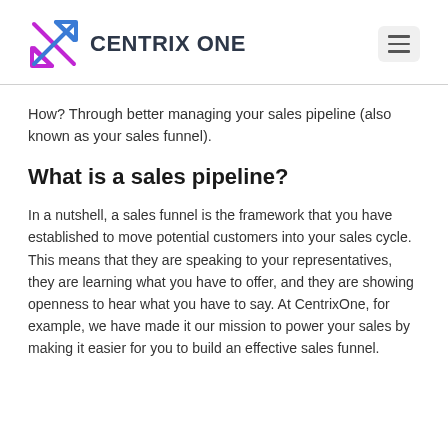CENTRIX ONE
How? Through better managing your sales pipeline (also known as your sales funnel).
What is a sales pipeline?
In a nutshell, a sales funnel is the framework that you have established to move potential customers into your sales cycle. This means that they are speaking to your representatives, they are learning what you have to offer, and they are showing openness to hear what you have to say. At CentrixOne, for example, we have made it our mission to power your sales by making it easier for you to build an effective sales funnel.